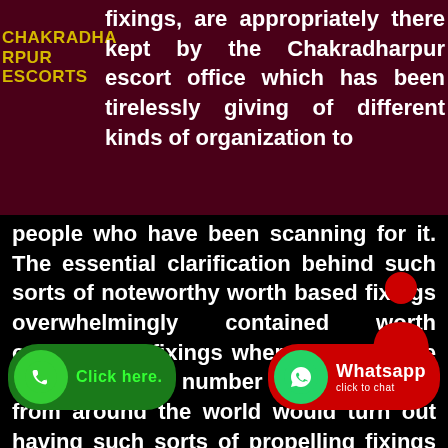CHAKRADHA RPUR ESCORTS
fixings, are appropriately there kept by the Chakradharpur escort office which has been tirelessly giving of different kinds of organization to people who have been scanning for it. The essential clarification behind such sorts of noteworthy worth based fixings overwhelmingly contained worth organization fixings where two or three an enormous number of individuals from around the world would turn out having such sorts of propelling fixings so long. Numerous from around spite of everything are there